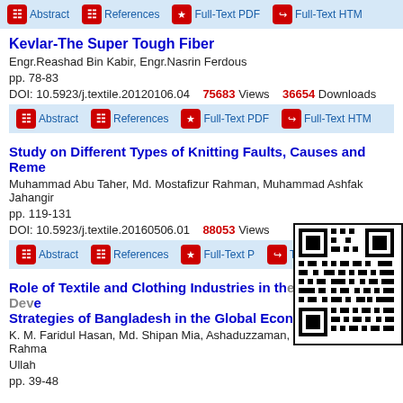Abstract | References | Full-Text PDF | Full-Text HTML
Kevlar-The Super Tough Fiber
Engr.Reashad Bin Kabir, Engr.Nasrin Ferdous
pp. 78-83
DOI: 10.5923/j.textile.20120106.04    75683 Views    36654 Downloads
Abstract | References | Full-Text PDF | Full-Text HTML
Study on Different Types of Knitting Faults, Causes and Remedies
Muhammad Abu Taher, Md. Mostafizur Rahman, Muhammad Ashfak Jahangir
pp. 119-131
DOI: 10.5923/j.textile.20160506.01    88053 Views
Abstract | References | Full-Text PDF
Role of Textile and Clothing Industries in the Growth and Development Strategies of Bangladesh in the Global Economy
K. M. Faridul Hasan, Md. Shipan Mia, Ashaduzzaman, Md. Mostafizur Rahman Ullah
pp. 39-48
[Figure (other): QR code]